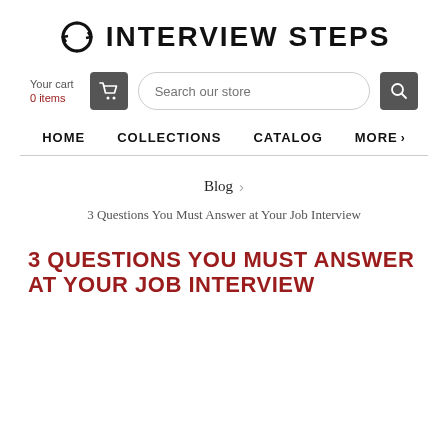INTERVIEW STEPS
Your cart
0 items
Search our store
HOME   COLLECTIONS   CATALOG   MORE
Blog
3 Questions You Must Answer at Your Job Interview
3 QUESTIONS YOU MUST ANSWER AT YOUR JOB INTERVIEW